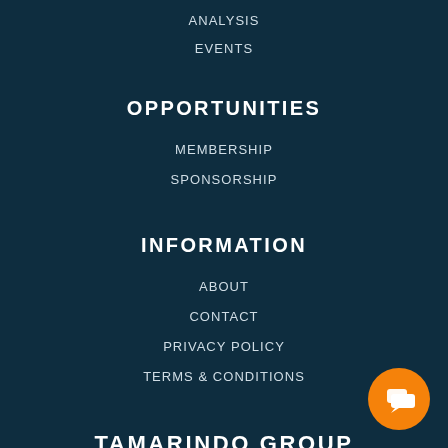ANALYSIS
EVENTS
OPPORTUNITIES
MEMBERSHIP
SPONSORSHIP
INFORMATION
ABOUT
CONTACT
PRIVACY POLICY
TERMS & CONDITIONS
TAMARINDO GROUP
TAMARINDO GROUP